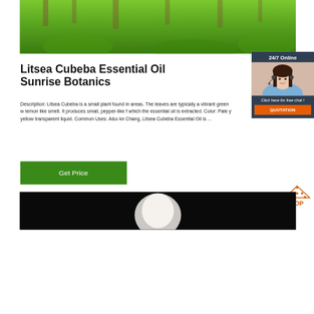[Figure (photo): Green grassy field with trees in the background, vibrant green landscape photo at top of page]
Litsea Cubeba Essential Oil Sunrise Botanics
Description: Litsea Cubeba is a small plant found in areas. The leaves are typically a vibrant green w lemon like smell. It produces small, pepper-like f which the essential oil is extracted. Color: Pale y yellow transparent liquid. Common Uses: Also kn Chang, Litsea Cubeba Essential Oil is ...
[Figure (photo): 24/7 online chat widget with customer service representative (woman with headset) and orange QUOTATION button]
[Figure (other): Get Price green button]
[Figure (photo): Bottom partial photo, dark image showing light object against black background]